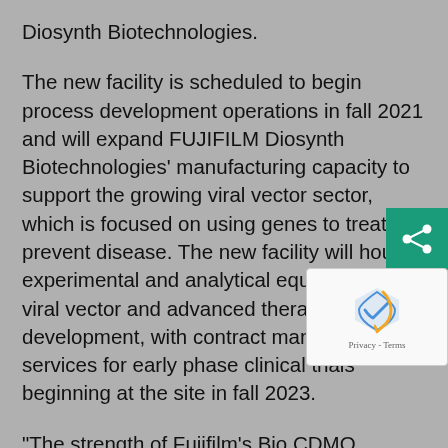Diosynth Biotechnologies.
The new facility is scheduled to begin process development operations in fall 2021 and will expand FUJIFILM Diosynth Biotechnologies' manufacturing capacity to support the growing viral vector sector, which is focused on using genes to treat or prevent disease. The new facility will house experimental and analytical equipment for viral vector and advanced therapy process development, with contract manufacturing services for early phase clinical trials beginning at the site in fall 2023.
“The strength of Fujifilm’s Bio CDMO business lies in its wide-range of capabilities: process development for a variety of biopharmaceutical such as antibodies, recombinant protein, gene therapy, vaccines, oncolytic virus and more, along with flexible facilities that can adapt to small or large scale manufacturing of drug substances, formulation and packaging,” said Takatoshi Ishikawa, senior executive vice